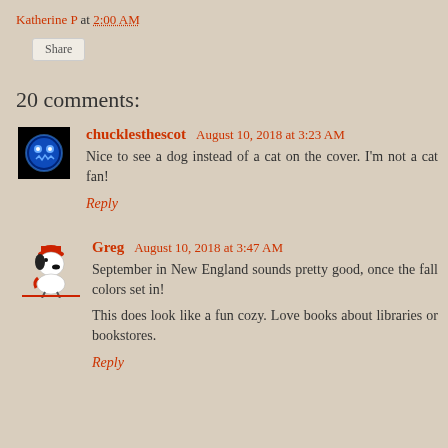Katherine P at 2:00 AM
Share
20 comments:
chucklesthescot August 10, 2018 at 3:23 AM
Nice to see a dog instead of a cat on the cover. I'm not a cat fan!
Reply
Greg August 10, 2018 at 3:47 AM
September in New England sounds pretty good, once the fall colors set in!

This does look like a fun cozy. Love books about libraries or bookstores.
Reply